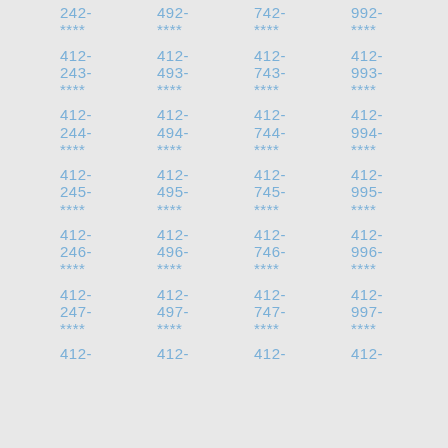412-242-**** 412-492-**** 412-742-**** 412-992-**** 412-243-**** 412-493-**** 412-743-**** 412-993-**** 412-244-**** 412-494-**** 412-744-**** 412-994-**** 412-245-**** 412-495-**** 412-745-**** 412-995-**** 412-246-**** 412-496-**** 412-746-**** 412-996-**** 412-247-**** 412-497-**** 412-747-**** 412-997-**** 412- 412- 412- 412-